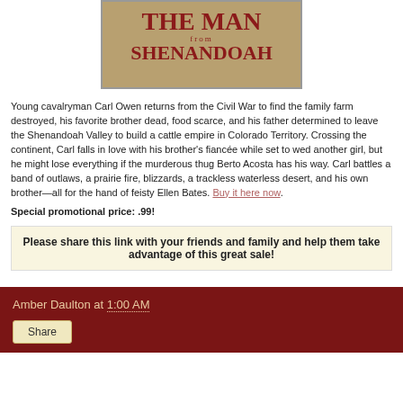[Figure (illustration): Book cover for 'The Man from Shenandoah' with dark red text on a muted brown/tan background]
Young cavalryman Carl Owen returns from the Civil War to find the family farm destroyed, his favorite brother dead, food scarce, and his father determined to leave the Shenandoah Valley to build a cattle empire in Colorado Territory. Crossing the continent, Carl falls in love with his brother's fiancée while set to wed another girl, but he might lose everything if the murderous thug Berto Acosta has his way. Carl battles a band of outlaws, a prairie fire, blizzards, a trackless waterless desert, and his own brother—all for the hand of feisty Ellen Bates. [link]. Special promotional price: .99!
Please share this link with your friends and family and help them take advantage of this great sale!
Amber Daulton at 1:00 AM
Share